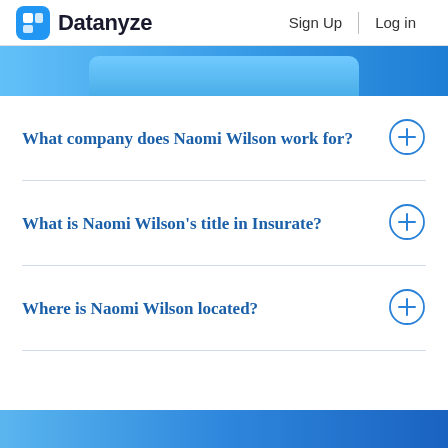Datanyze | Sign Up | Log in
[Figure (other): Blue rounded button/banner at top of page]
What company does Naomi Wilson work for?
What is Naomi Wilson's title in Insurate?
Where is Naomi Wilson located?